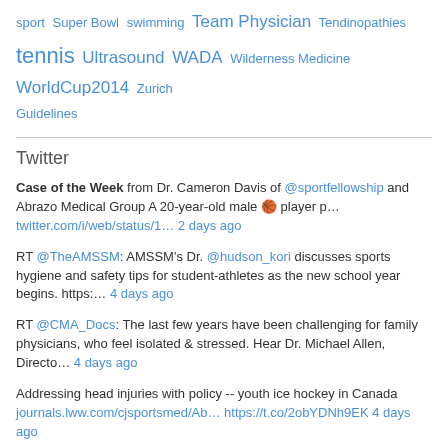sport Super Bowl swimming Team Physician Tendinopathies tennis Ultrasound WADA Wilderness Medicine WorldCup2014 Zurich Guidelines
Twitter
Case of the Week from Dr. Cameron Davis of @sportfellowship and Abrazo Medical Group A 20-year-old male 🏀 player p… twitter.com/i/web/status/1… 2 days ago
RT @TheAMSSM: AMSSM's Dr. @hudson_kori discusses sports hygiene and safety tips for student-athletes as the new school year begins. https:… 4 days ago
RT @CMA_Docs: The last few years have been challenging for family physicians, who feel isolated & stressed. Hear Dr. Michael Allen, Directo… 4 days ago
Addressing head injuries with policy -- youth ice hockey in Canada journals.lww.com/cjsportsmed/Ab… https://t.co/2obYDNh9EK 4 days ago